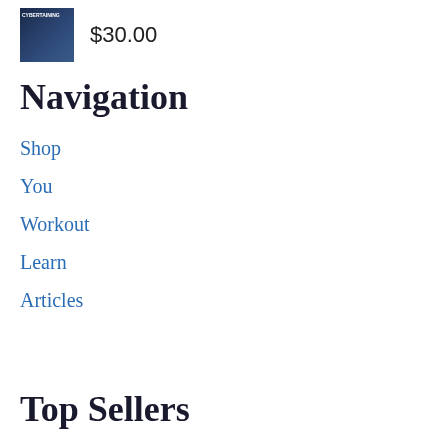[Figure (illustration): Small book cover thumbnail with dark blue background]
$30.00
Navigation
Shop
You
Workout
Learn
Articles
Top Sellers